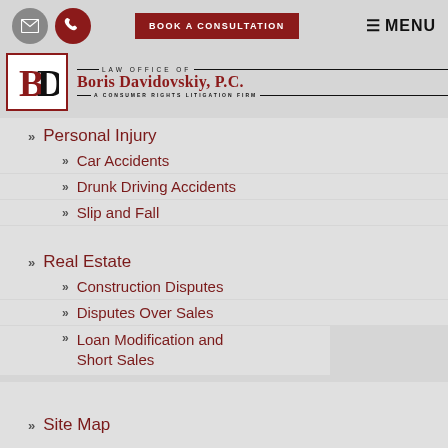Law Office of Boris Davidovskiy, P.C. — A Consumer Rights Litigation Firm — BOOK A CONSULTATION | MENU
Personal Injury
Car Accidents
Drunk Driving Accidents
Slip and Fall
Real Estate
Construction Disputes
Disputes Over Sales
Loan Modification and Short Sales
Site Map